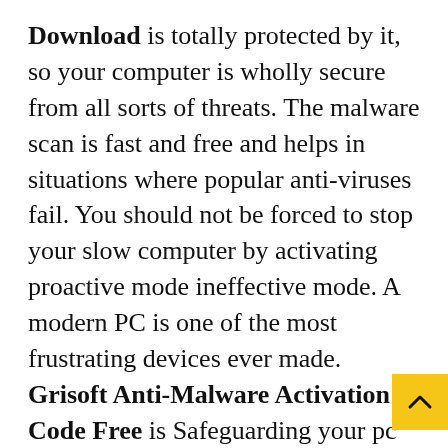Download is totally protected by it, so your computer is wholly secure from all sorts of threats. The malware scan is fast and free and helps in situations where popular anti-viruses fail. You should not be forced to stop your slow computer by activating proactive mode ineffective mode. A modern PC is one of the most frustrating devices ever made. Grisoft Anti-Malware Activation Code Free is Safeguarding your pc from infections, malware, as well as spyware, are required. The current safety of your pc makes it possible for you to be protected when you are browsing the internet. The software of this software is useful and very simple to make use of. some options recognized throughout